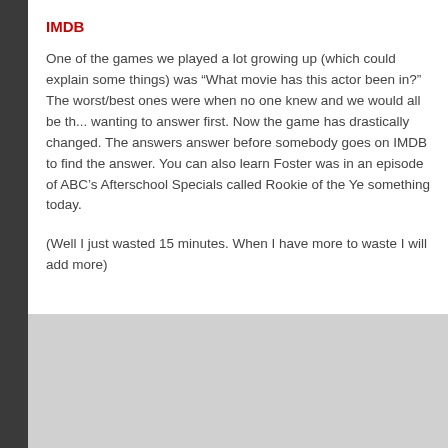IMDB
One of the games we played a lot growing up (which could explain some things) was "What movie has this actor been in?"  The worst/best ones were when no one knew and we would all be th... wanting to answer first.  Now the game has drastically changed.  The answers... answer before somebody goes on IMDB to find the answer.  You can also learn... Foster was in an episode of ABC's Afterschool Specials called Rookie of the Ye... something today.
(Well I just wasted 15 minutes.  When I have more to waste I will add more)